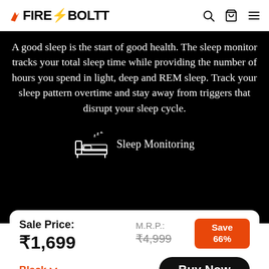Fire-Boltt
A good sleep is the start of good health. The sleep monitor tracks your total sleep time while providing the number of hours you spend in light, deep and REM sleep. Track your sleep pattern overtime and stay away from triggers that disrupt your sleep cycle.
[Figure (illustration): Bed with sleep icon and 'Sleep Monitoring' label]
Sale Price: ₹1,699
M.R.P.: ₹4,999
Save 66%
Black
Buy Now